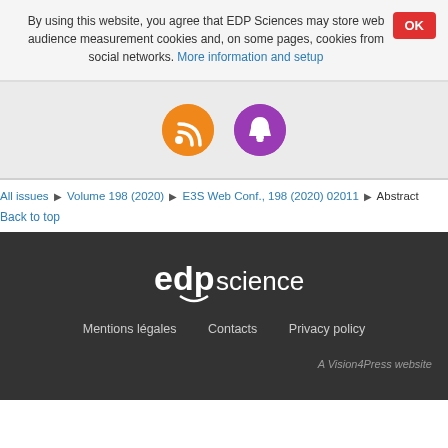By using this website, you agree that EDP Sciences may store web audience measurement cookies and, on some pages, cookies from social networks. More information and setup
[Figure (illustration): Orange RSS feed icon circle and purple notification bell icon circle]
All issues ▶ Volume 198 (2020) ▶ E3S Web Conf., 198 (2020) 02011 ▶ Abstract
Back to top
[Figure (logo): EDP Sciences logo in white on dark background]
Mentions légales   Contacts   Privacy policy   A Vision4Press website